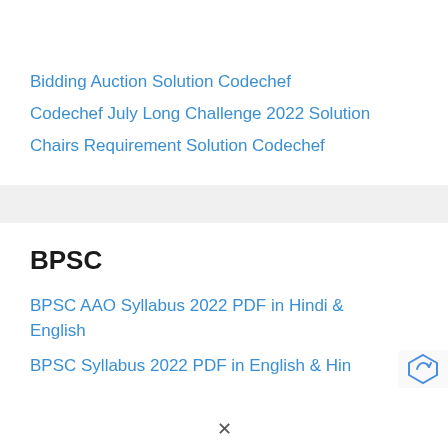Bidding Auction Solution Codechef
Codechef July Long Challenge 2022 Solution
Chairs Requirement Solution Codechef
BPSC
BPSC AAO Syllabus 2022 PDF in Hindi & English
BPSC Syllabus 2022 PDF in English & Hin…